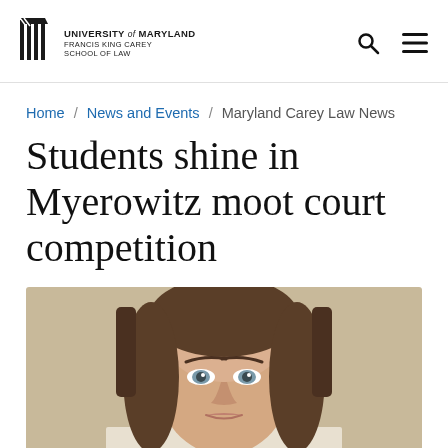University of Maryland Francis King Carey School of Law
Home / News and Events / Maryland Carey Law News
Students shine in Myerowitz moot court competition
[Figure (photo): Close-up portrait photo of a young woman with long brown hair and light eyes, photographed against a beige/tan background]